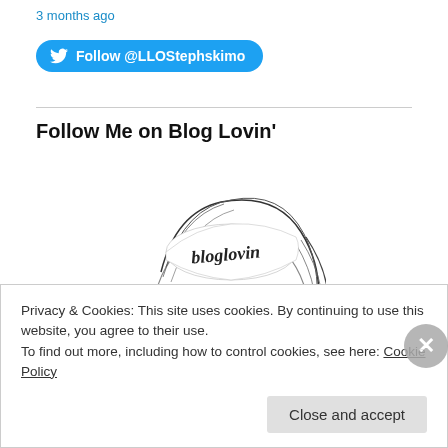3 months ago
[Figure (other): Twitter Follow button with bird icon and text 'Follow @LLOStephskimo']
Follow Me on Blog Lovin'
[Figure (illustration): Black and white illustration of a stylized woman with 'bloglovin' written on a headband]
Privacy & Cookies: This site uses cookies. By continuing to use this website, you agree to their use.
To find out more, including how to control cookies, see here: Cookie Policy
Close and accept